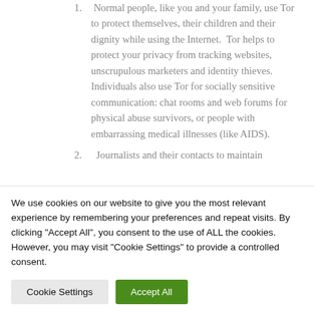Normal people, like you and your family, use Tor to protect themselves, their children and their dignity while using the Internet.  Tor helps to protect your privacy from tracking websites, unscrupulous marketers and identity thieves. Individuals also use Tor for socially sensitive communication: chat rooms and web forums for physical abuse survivors, or people with embarrassing medical illnesses (like AIDS).
Journalists and their contacts to maintain
We use cookies on our website to give you the most relevant experience by remembering your preferences and repeat visits. By clicking "Accept All", you consent to the use of ALL the cookies. However, you may visit "Cookie Settings" to provide a controlled consent.